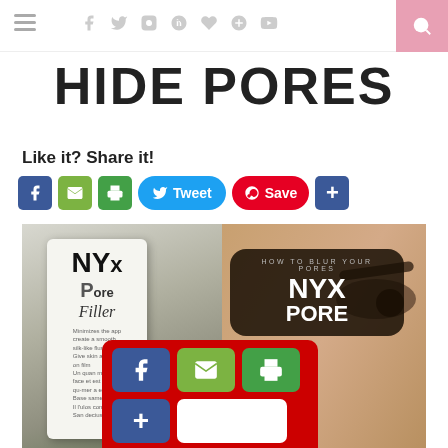Navigation header with hamburger menu, social icons (Facebook, Twitter, Instagram, Pinterest, Heart, Google+, YouTube), and search button
HIDE PORES
Like it? Share it!
[Figure (infographic): Social share buttons: Facebook, Email, Print, Tweet, Save (Pinterest), and plus button]
[Figure (photo): Split image: left side shows NYX Pore Filler product tube held in hand against green background; right side shows close-up of a woman's eye/cheek with rounded dark overlay showing 'HOW TO BLUR YOUR PORES / NYX / PORE' text. Red share bar overlay at bottom with Facebook, email, print icons and plus button.]